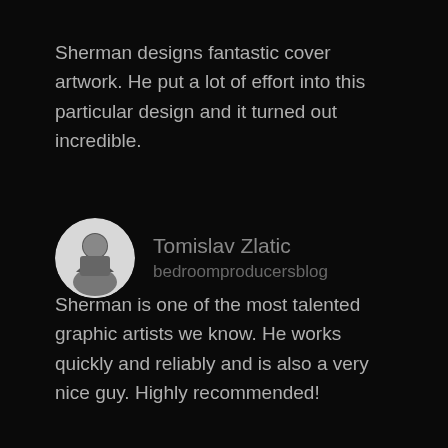Sherman designs fantastic cover artwork. He put a lot of effort into this particular design and it turned out incredible.
[Figure (photo): Circular black and white portrait photo of Tomislav Zlatic sitting]
Tomislav Zlatic
bedroomproducersblog
Sherman is one of the most talented graphic artists we know. He works quickly and reliably and is also a very nice guy. Highly recommended!